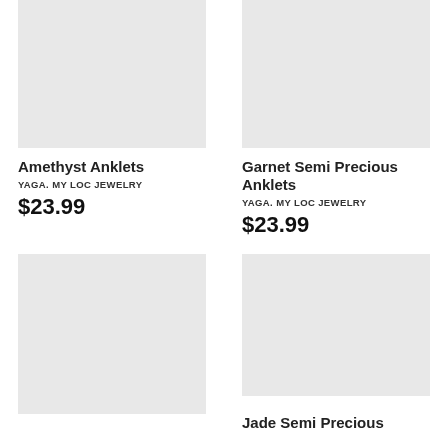[Figure (photo): Product image placeholder - Amethyst Anklets, light gray background]
Amethyst Anklets
YAGA. MY LOC JEWELRY
$23.99
[Figure (photo): Product image placeholder - Garnet Semi Precious Anklets, light gray background]
Garnet Semi Precious Anklets
YAGA. MY LOC JEWELRY
$23.99
[Figure (photo): Product image placeholder - bottom left item, light gray background]
[Figure (photo): Product image placeholder - Jade Semi Precious, light gray background]
Jade Semi Precious